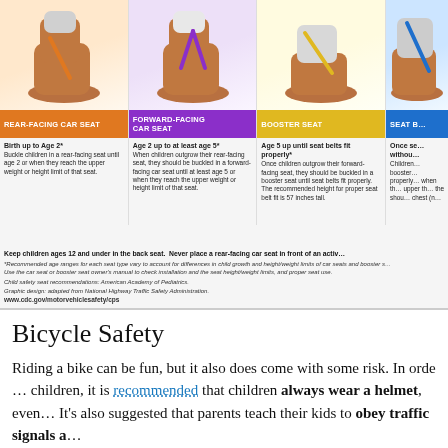[Figure (infographic): Child car seat safety infographic showing four types of car seats: Rear-Facing Car Seat (birth up to age 2), Forward-Facing Car Seat (age 2 up to at least age 5), Booster Seat (age 5 up until seat belts fit properly), and Seat Belt (partially visible). Includes illustrated car seats, colored label bars, descriptive text, and footnotes. Bottom note: Keep children ages 12 and under in the back seat. Never place a rear-facing car seat in front of an active airbag. Source: CDC www.cdc.gov/motorvehiclesafety/cps]
Bicycle Safety
Riding a bike can be fun, but it also does come with some risk. In order to protect children, it is recommended that children always wear a helmet, even on short rides. It's also suggested that parents teach their kids to obey traffic signals and